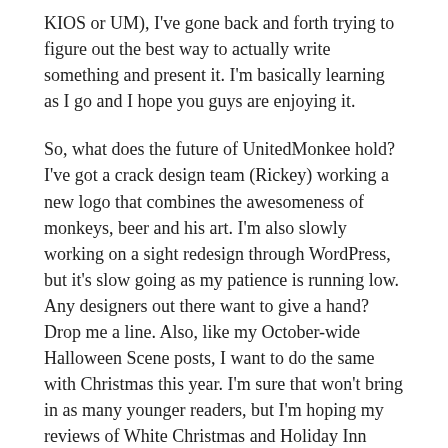KIOS or UM), I've gone back and forth trying to figure out the best way to actually write something and present it. I'm basically learning as I go and I hope you guys are enjoying it.
So, what does the future of UnitedMonkee hold? I've got a crack design team (Rickey) working a new logo that combines the awesomeness of monkeys, beer and his art. I'm also slowly working on a sight redesign through WordPress, but it's slow going as my patience is running low. Any designers out there want to give a hand? Drop me a line. Also, like my October-wide Halloween Scene posts, I want to do the same with Christmas this year. I'm sure that won't bring in as many younger readers, but I'm hoping my reviews of White Christmas and Holiday Inn might bring in that ever-present elderly readership I'm trying to nail down.
Well, that's about to wrap it up, hopefully this post is interesting...